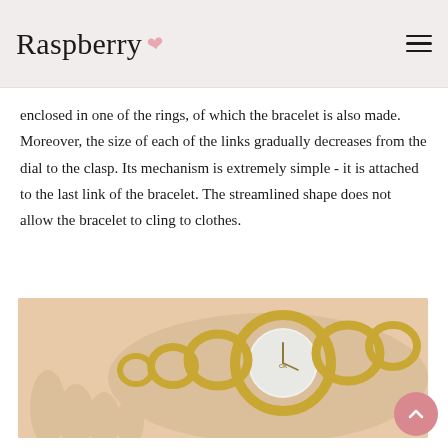Raspberry
enclosed in one of the rings, of which the bracelet is also made. Moreover, the size of each of the links gradually decreases from the dial to the clasp. Its mechanism is extremely simple - it is attached to the last link of the bracelet. The streamlined shape does not allow the bracelet to cling to clothes.
[Figure (photo): A gold CK (Calvin Klein) bracelet watch with circular link bracelet design, worn on a wrist. The watch face is round with a white/silver dial. The bracelet links are large gold rings decreasing in size from the dial.]